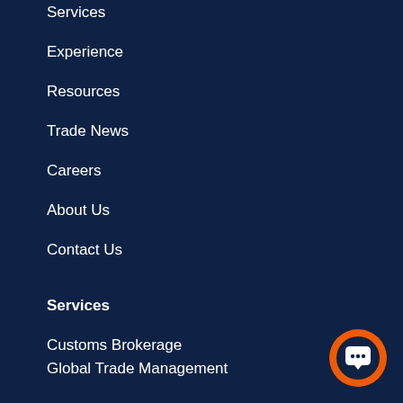Services
Experience
Resources
Trade News
Careers
About Us
Contact Us
Services
Customs Brokerage
Global Trade Management
Trade Consulting
Freight and Transportation
Business Process Services
TradeSphere
Vehicle Transportation Services
E-Commerce
[Figure (illustration): Orange circular chat button with white chat icon]